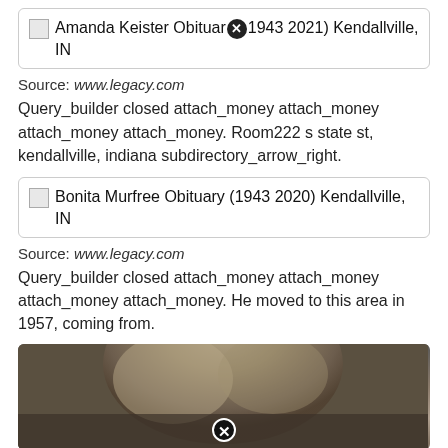[Figure (screenshot): Card with broken image icon and text: Amanda Keister Obituary (1943 2021) Kendallville, IN with a close button icon]
Source: www.legacy.com
Query_builder closed attach_money attach_money attach_money attach_money. Room222 s state st, kendallville, indiana subdirectory_arrow_right.
[Figure (screenshot): Card with broken image icon and text: Bonita Murfree Obituary (1943 2020) Kendallville, IN]
Source: www.legacy.com
Query_builder closed attach_money attach_money attach_money attach_money. He moved to this area in 1957, coming from.
[Figure (photo): Partial photo of a person with grey/blonde hair, with a close button overlay at the bottom center]